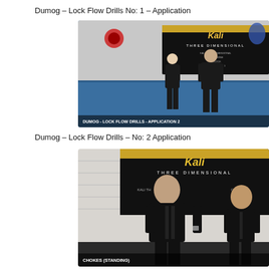Dumog – Lock Flow Drills No: 1 – Application
[Figure (photo): Two men in black clothing standing on a blue mat in a martial arts gym. A 'Kali Three Dimensional' banner is visible in the background. Text overlay at bottom reads 'DUMOG - LOCK FLOW DRILLS - APPLICATION 2'.]
Dumog – Lock Flow Drills – No: 2 Application
[Figure (photo): Two men in black clothing standing in front of a 'Kali Three Dimensional' banner. Text overlay at bottom reads 'CHOKES (STANDING)'.]